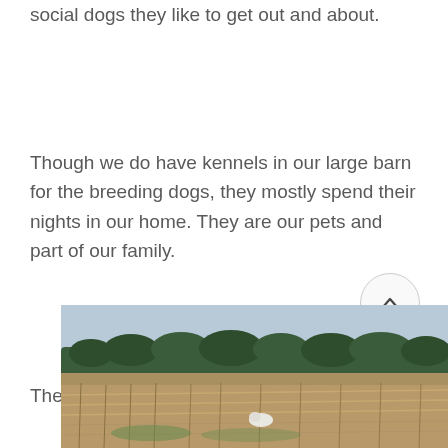social dogs they like to get out and about.
Though we do have kennels in our large barn for the breeding dogs, they mostly spend their nights in our home. They are our pets and part of our family.
The
[Figure (photo): Outdoor rural landscape photo showing a field with dry crops/corn stalks in the foreground, a line of trees and forest in the background, under a light blue sky.]